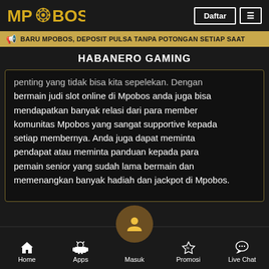[Figure (logo): MPOBOS logo in gold text with gear icon]
BARU MPOBOS, DEPOSIT PULSA TANPA POTONGAN SETIAP SAAT
HABANERO GAMING
penting yang tidak bisa kita sepelekan. Dengan bermain judi slot online di Mpobos anda juga bisa mendapatkan banyak relasi dari para member komunitas Mpobos yang sangat supportive kepada setiap membernya. Anda juga dapat meminta pendapat atau meminta panduan kepada para pemain senior yang sudah lama bermain dan memenangkan banyak hadiah dan jackpot di Mpobos.
Home  Apps  Masuk  Promosi  Live Chat